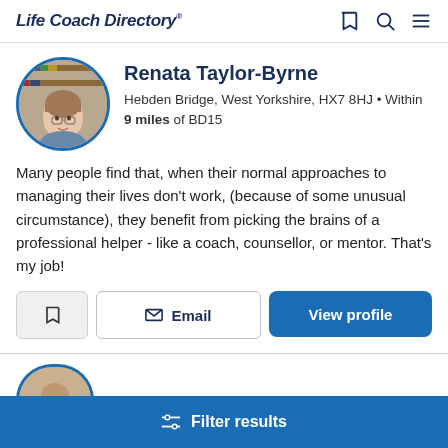Life Coach Directory
Renata Taylor-Byrne
Hebden Bridge, West Yorkshire, HX7 8HJ • Within 9 miles of BD15
Many people find that, when their normal approaches to managing their lives don't work, (because of some unusual circumstance), they benefit from picking the brains of a professional helper - like a coach, counsellor, or mentor. That's my job!
[Figure (photo): Profile photo of Renata Taylor-Byrne, a person with short hair and glasses, in front of bookshelves]
Email
View profile
Filter results